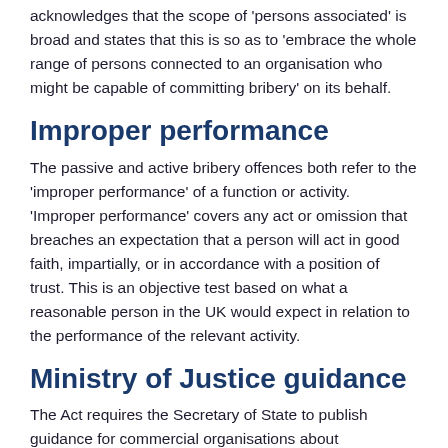acknowledges that the scope of 'persons associated' is broad and states that this is so as to 'embrace the whole range of persons connected to an organisation who might be capable of committing bribery' on its behalf.
Improper performance
The passive and active bribery offences both refer to the 'improper performance' of a function or activity. 'Improper performance' covers any act or omission that breaches an expectation that a person will act in good faith, impartially, or in accordance with a position of trust. This is an objective test based on what a reasonable person in the UK would expect in relation to the performance of the relevant activity.
Ministry of Justice guidance
The Act requires the Secretary of State to publish guidance for commercial organisations about procedures that they can put in place to prevent persons associated with them